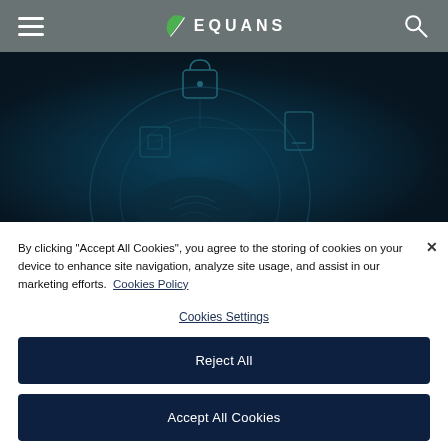EQUANS
[Figure (photo): Dark cybersecurity themed hero image with glowing circuit/lock icons on a dark teal/navy background]
By clicking "Accept All Cookies", you agree to the storing of cookies on your device to enhance site navigation, analyze site usage, and assist in our marketing efforts.  Cookies Policy
Cookies Settings
Reject All
Accept All Cookies